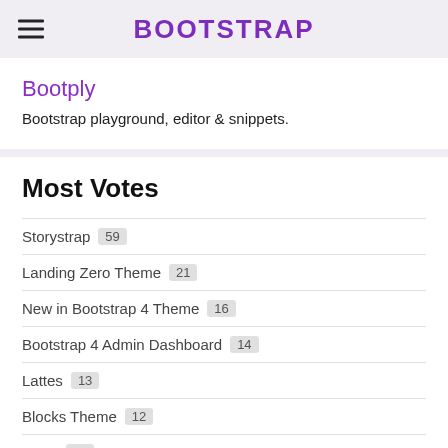BOOTSTRAP
Bootply
Bootstrap playground, editor & snippets.
Most Votes
Storystrap 59
Landing Zero Theme 21
New in Bootstrap 4 Theme 16
Bootstrap 4 Admin Dashboard 14
Lattes 13
Blocks Theme 12
Rage 11
Light Bootstrap Dashboard Pro by Creative Tim 10